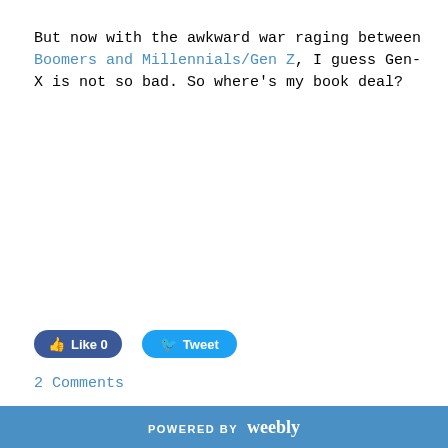But now with the awkward war raging between Boomers and Millennials/Gen Z, I guess Gen-X is not so bad. So where's my book deal?
[Figure (other): Facebook Like button with count 0 and Twitter Tweet button]
2 Comments
POWERED BY weebly